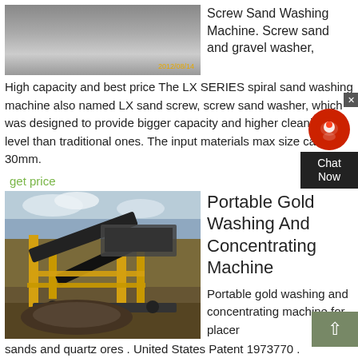[Figure (photo): Photo of a screw sand washing machine, date stamped 2012/08/14 in orange]
Screw Sand Washing Machine. Screw sand and gravel washer, High capacity and best price The LX SERIES spiral sand washing machine also named LX sand screw, screw sand washer, which was designed to provide bigger capacity and higher cleaning level than traditional ones. The input materials max size can be 30mm.
get price
[Figure (photo): Photo of a large portable gold washing and concentrating machine, yellow heavy equipment on a job site]
Portable Gold Washing And Concentrating Machine
Portable gold washing and concentrating machine for placer sands and quartz ores . United States Patent 1973770 . Inventors: Mccullough, William A. Application Number: US2873484884. Publication Date: 09/10/1934. Filing Dat...